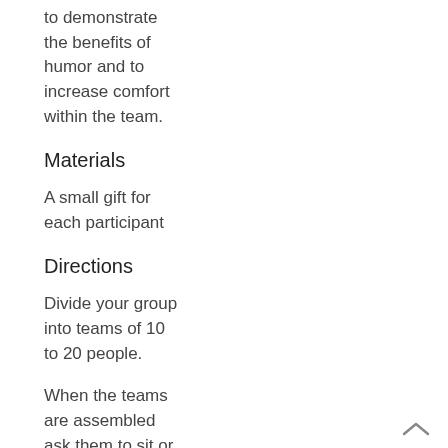to demonstrate the benefits of humor and to increase comfort within the team.
Materials
A small gift for each participant
Directions
Divide your group into teams of 10 to 20 people.
When the teams are assembled ask them to sit or stand in a circle.